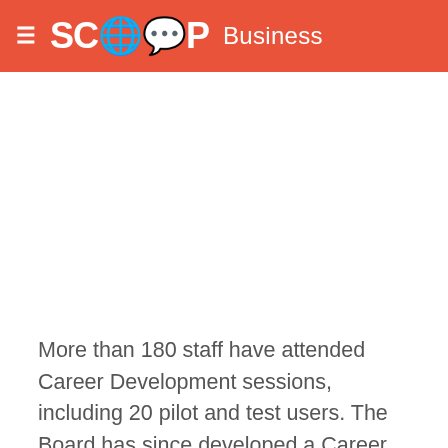SCOOP Business
[Figure (other): Advertisement placeholder area (blank white space)]
More than 180 staff have attended Career Development sessions, including 20 pilot and test users. The Board has since developed a Career Development Programme. Workbooks have...